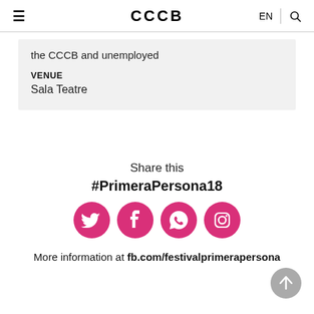≡  CCCB  EN  🔍
the CCCB and unemployed
VENUE
Sala Teatre
Share this
#PrimeraPersona18
[Figure (infographic): Four pink circular social media icons: Twitter bird, Facebook f, WhatsApp speech bubble, Instagram camera]
More information at fb.com/festivalprimerapersona